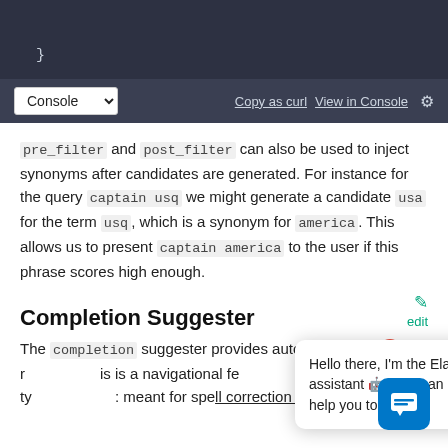[Figure (screenshot): Dark-themed code editor block showing closing brace and a console toolbar with 'Console' dropdown, 'Copy as curl', 'View in Console' links and gear icon]
pre_filter and post_filter can also be used to inject synonyms after candidates are generated. For instance for the query captain usq we might generate a candidate usa for the term usq, which is a synonym for america. This allows us to present captain america to the user if this phrase scores high enough.
Completion Suggester
The completion suggester provides auto-complete/search-as-you-type functionality. This is a navigational feature, which takes the user to the relevant results as they are typing, improving search precision. It is not meant for spell correction or did-you-mean